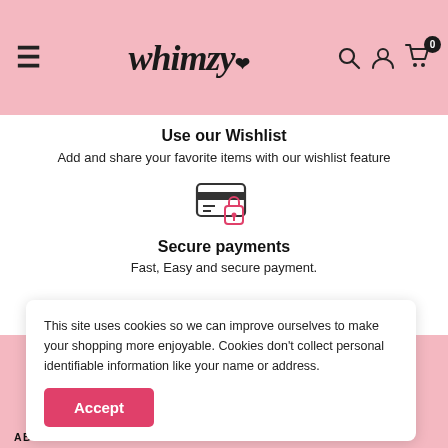Whimzy — navigation header with hamburger menu, logo, search, user, and cart icons
Use our Wishlist
Add and share your favorite items with our wishlist feature
[Figure (illustration): Icon of a credit card with a padlock overlay, representing secure payments]
Secure payments
Fast, Easy and secure payment.
This site uses cookies so we can improve ourselves to make your shopping more enjoyable. Cookies don't collect personal identifiable information like your name or address.
Accept
ABOUT THE SHOP